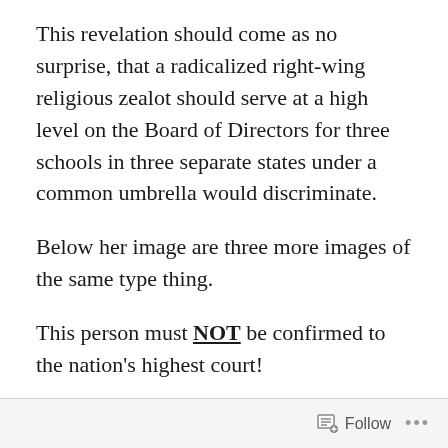This revelation should come as no surprise, that a radicalized right-wing religious zealot should serve at a high level on the Board of Directors for three schools in three separate states under a common umbrella would discriminate.
Below her image are three more images of the same type thing.
This person must NOT be confirmed to the nation's highest court!
And toward that end, perhaps it may alarm you to know that a Ku Klux Klansman has been seated on the nation's highest court.
Follow ···